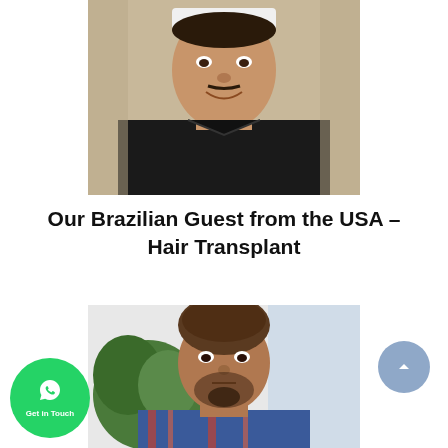[Figure (photo): Close-up photo of a man smiling, with white medical bandaging visible at the top of his head, wearing a black jacket. Post hair transplant surgery image.]
Our Brazilian Guest from the USA – Hair Transplant
[Figure (photo): Photo of a younger man with a shaved head showing hair transplant areas, wearing a blue striped shirt, with a plant in the background. Pre or early post hair transplant image.]